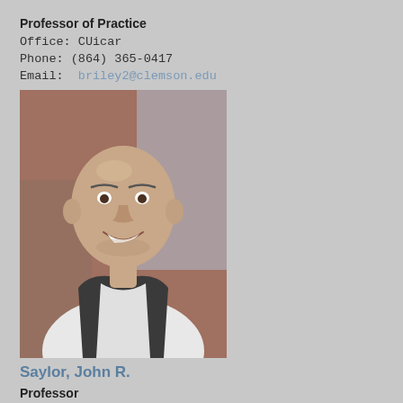Professor of Practice
Office: CUicar
Phone: (864) 365-0417
Email: briley2@clemson.edu
[Figure (photo): Headshot of a bald smiling man in a dark vest over a white shirt]
Saylor, John R.
Professor
Office: 229 Fluor Daniel Building
Phone: (864) 656-5621
Email: jsaylor@clemson.edu
[Figure (photo): Partial headshot at bottom of page, partially cropped]